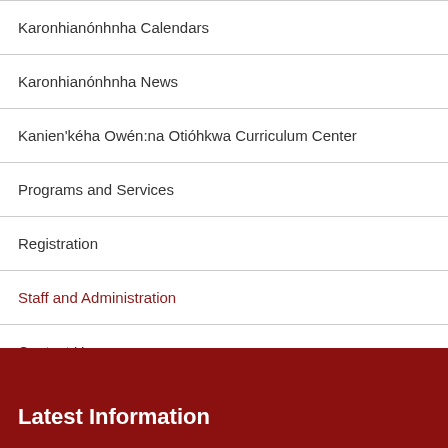Karonhianónhnha Calendars
Karonhianónhnha News
Kanien'kéha Owén:na Otióhkwa Curriculum Center
Programs and Services
Registration
Staff and Administration
Contact Us
Latest Information